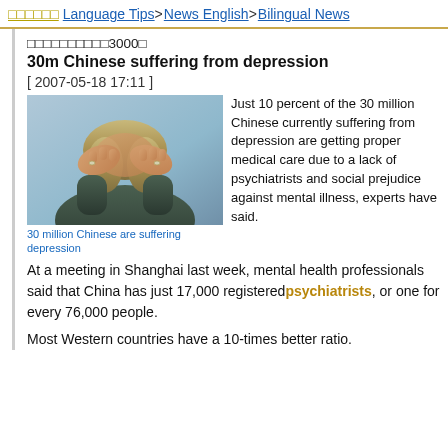□□□□□□ Language Tips > News English > Bilingual News
□□□□□□□□□□3000□
30m Chinese suffering from depression
[ 2007-05-18 17:11 ]
[Figure (photo): Person with head in hands, suffering from depression]
30 million Chinese are suffering depression
Just 10 percent of the 30 million Chinese currently suffering from depression are getting proper medical care due to a lack of psychiatrists and social prejudice against mental illness, experts have said.
At a meeting in Shanghai last week, mental health professionals said that China has just 17,000 registered psychiatrists, or one for every 76,000 people.
Most Western countries have a 10-times better ratio.